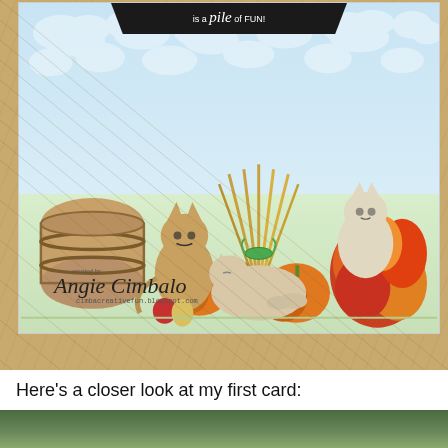[Figure (photo): A handmade autumn-themed greeting card featuring illustrated cats among pumpkins, a barrel, a wheat sheaf, and fall leaves against a blue sky background. A black pennant banner at top reads 'is a pile of FUN!' in white text. A watermark reads 'created by Angie Cimbalo' with website 'cimbacreativefun.blogspot.com'. The card is resting on a wood bamboo surface.]
Here's a closer look at my first card:
[Figure (photo): Bottom portion of another card photo showing green foliage, partially visible.]